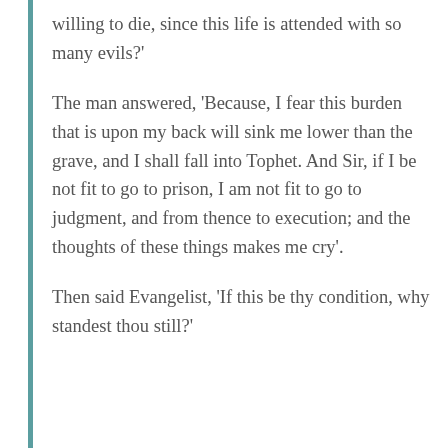willing to die, since this life is attended with so many evils?'
The man answered, ‘Because, I fear this burden that is upon my back will sink me lower than the grave, and I shall fall into Tophet. And Sir, if I be not fit to go to prison, I am not fit to go to judgment, and from thence to execution; and the thoughts of these things makes me cry’.
Then said Evangelist, ‘If this be thy condition, why standest thou still?’